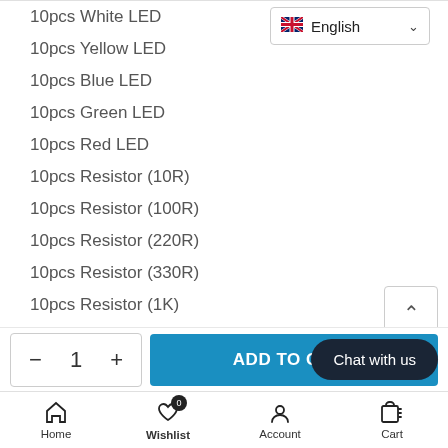10pcs White LED
10pcs Yellow LED
10pcs Blue LED
10pcs Green LED
10pcs Red LED
10pcs Resistor (10R)
10pcs Resistor (100R)
10pcs Resistor (220R)
10pcs Resistor (330R)
10pcs Resistor (1K)
10pcs Resistor (2K)
10pcs Resistor (5K1)
10pcs Resistor (10K)
10pcs Resistor (100K)
English (language selector)
- 1 + ADD TO CART
Chat with us
Home  Wishlist 0  Account  Cart